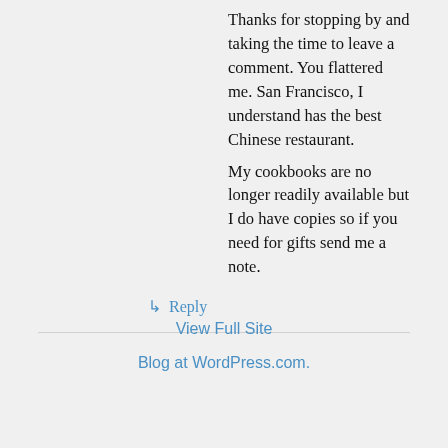Thanks for stopping by and taking the time to leave a comment. You flattered me. San Francisco, I understand has the best Chinese restaurant.
My cookbooks are no longer readily available but I do have copies so if you need for gifts send me a note.
↳ Reply
View Full Site
Blog at WordPress.com.